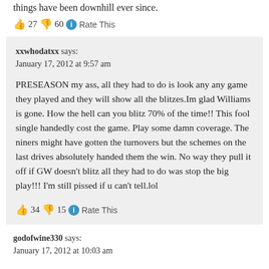things have been downhill ever since.
👍 27 👎 60 ℹ Rate This
xxwhodatxx says:
January 17, 2012 at 9:57 am

PRESEASON my ass, all they had to do is look any any game they played and they will show all the blitzes.Im glad Williams is gone. How the hell can you blitz 70% of the time!! This fool single handedly cost the game. Play some damn coverage. The niners might have gotten the turnovers but the schemes on the last drives absolutely handed them the win. No way they pull it off if GW doesn't blitz all they had to do was stop the big play!!! I'm still pissed if u can't tell.lol
👍 34 👎 15 ℹ Rate This
godofwine330 says:
January 17, 2012 at 10:03 am